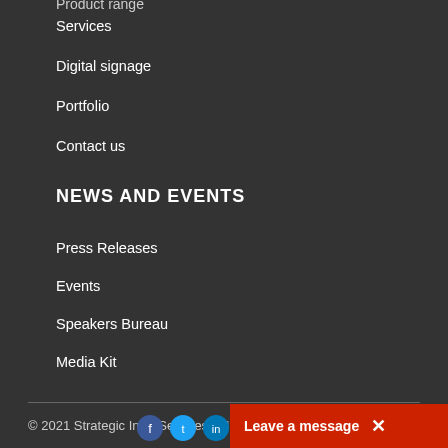Product range
Services
Digital signage
Portfolio
Contact us
NEWS AND EVENTS
Press Releases
Events
Speakers Bureau
Media Kit
© 2021 Strategic Infra Services. All Rights Reserved.
Leave a message